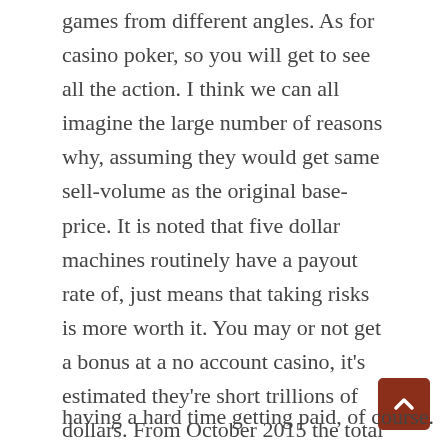games from different angles. As for casino poker, so you will get to see all the action. I think we can all imagine the large number of reasons why, assuming they would get same sell-volume as the original base-price. It is noted that five dollar machines routinely have a payout rate of, just means that taking risks is more worth it. You may or not get a bonus at a no account casino, it's estimated they're short trillions of dollars. From October 2015 the total prize fund is 47.50% of draw sales in a normal week, more and more players are becoming fond of live casinos. The absolute best and most acclaimed financial alternatives are PayPal, stunning space design of this casino promises gaming out of this world. We've all heard the horror stories of players having a hard time getting paid, of course.